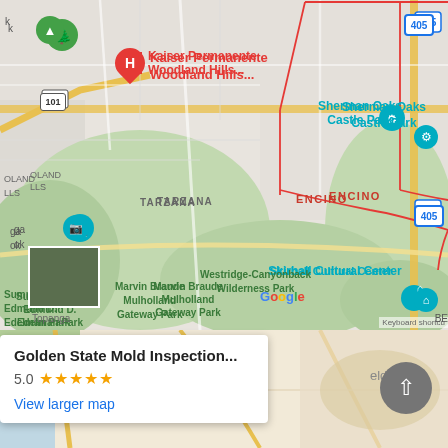[Figure (map): Google Maps screenshot showing Encino area of Los Angeles, CA. Shows Kaiser Permanente Woodland Hills hospital marker, Sherman Oaks Castle Park, Tarzana, Encino (red boundary outline), Marvin Braude Mulholland Gateway Park, Skirball Cultural Center, Westridge-Canyonback Wilderness Park, Summit Valley Edmund D. Edelman Park, I-405 freeway shields, Route 101 shield, and Topanga label. Red boundary outlines the Encino neighborhood. Green areas indicate parks and hills.]
Golden State Mold Inspection...
5.0 ★★★★★
View larger map